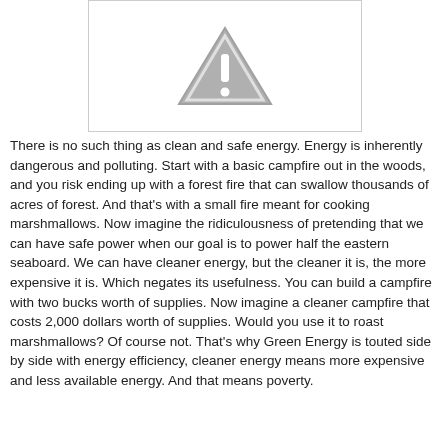[Figure (illustration): A gray warning/caution triangle icon with an exclamation mark, displayed inside a white rectangle with a light gray border.]
There is no such thing as clean and safe energy. Energy is inherently dangerous and polluting. Start with a basic campfire out in the woods, and you risk ending up with a forest fire that can swallow thousands of acres of forest. And that's with a small fire meant for cooking marshmallows. Now imagine the ridiculousness of pretending that we can have safe power when our goal is to power half the eastern seaboard. We can have cleaner energy, but the cleaner it is, the more expensive it is. Which negates its usefulness. You can build a campfire with two bucks worth of supplies. Now imagine a cleaner campfire that costs 2,000 dollars worth of supplies. Would you use it to roast marshmallows? Of course not. That's why Green Energy is touted side by side with energy efficiency, cleaner energy means more expensive and less available energy. And that means poverty.